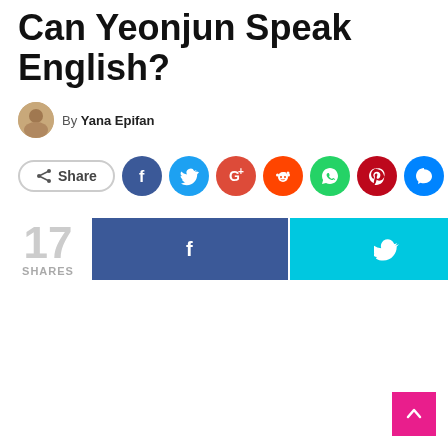Can Yeonjun Speak English?
By Yana Epifan
[Figure (infographic): Social share buttons row: Share button outline, Facebook (blue circle), Twitter (light blue circle), Google+ (red circle), Reddit (orange circle), WhatsApp (green circle), Pinterest (dark red circle), Messenger (blue circle), Email (dark gray circle)]
[Figure (infographic): Shares count: 17 SHARES, with wide Facebook share button and wide Twitter share button side by side]